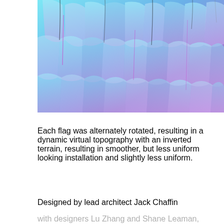[Figure (photo): Abstract colorful installation artwork showing layered flag-like panels in gradients of cyan, blue, and purple, viewed from below, creating a dynamic topographic pattern.]
Each flag was alternately rotated, resulting in a dynamic virtual topography with an inverted terrain, resulting in smoother, but less uniform looking installation and slightly less uniform.
Designed by lead architect Jack Chaffin with designers Lu Zhang and Shane Leaman,